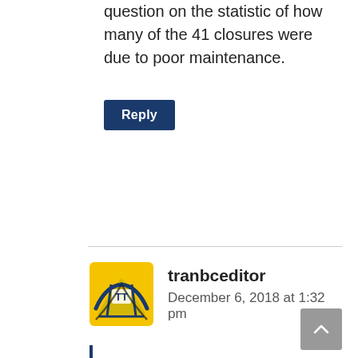question on the statistic of how many of the 41 closures were due to poor maintenance.
Reply
tranbceditor
December 6, 2018 at 1:32 pm
Hello Brian and sorry about that Bob! We closely monitor our contractors performance, can confirm that the contractor is meeting our specifications and have been very comfortable with the level of maintenance provided on this stretch